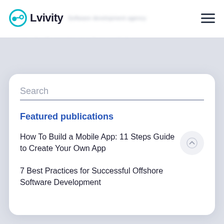Lvivity
Search
Featured publications
How To Build a Mobile App: 11 Steps Guide to Create Your Own App
7 Best Practices for Successful Offshore Software Development